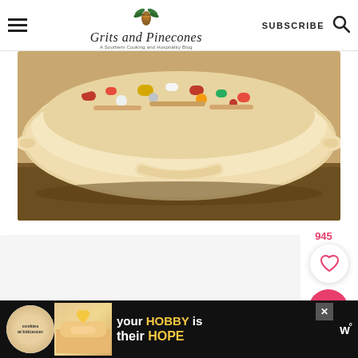Grits and Pinecones — A Southern Cooking and Hospitality Blog | SUBSCRIBE | Search
[Figure (photo): Close-up photo of a cream/tan ceramic casserole dish with a handle visible in the foreground, filled with a colorful food mixture (appears to be a rice or grain dish with vegetables), sitting on a dark wooden or cork surface.]
945
[Figure (other): White circular heart/like button and pink circular search button on the right side of the page.]
[Figure (photo): Advertisement banner at bottom: 'cookies at kidcancer' circular logo with a photo of hands holding a heart-shaped cookie. Text reads: 'your HOBBY is their HOPE'. Has an X close button. WM logo on the right.]